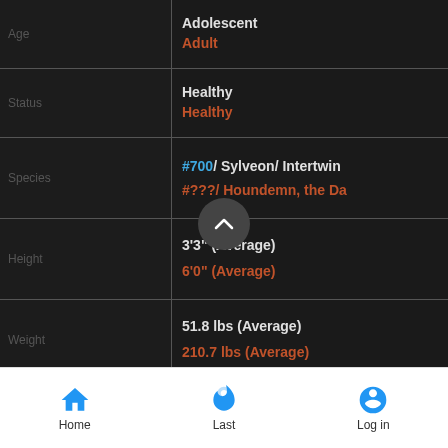| Field | Value |
| --- | --- |
| Age | Adolescent
Adult |
| Status | Healthy
Healthy |
| Species | #700/ Sylveon/ Intertwin…
#???/ Houndemn, the Da… |
| Height | 3'3" (Average)
6'0" (Average) |
| Weight | 51.8 lbs (Average)
210.7 lbs (Average) |
| PokéDex Entry | It sends a soothing aura ribbonlike feel… alm…
It's believed tha… u lo… pokemon, it can see into… |
Home   Last   Log in